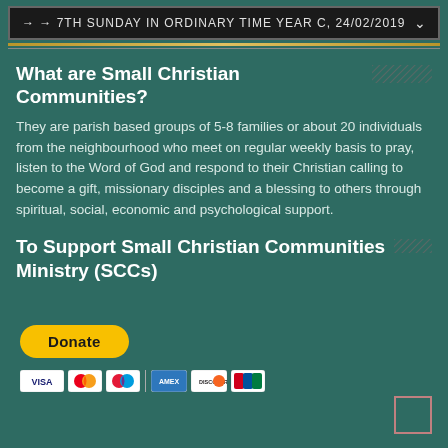→ → 7TH SUNDAY IN ORDINARY TIME YEAR C, 24/02/2019
What are Small Christian Communities?
They are parish based groups of 5-8 families or about 20 individuals from the neighbourhood who meet on regular weekly basis to pray, listen to the Word of God and respond to their Christian calling to become a gift, missionary disciples and a blessing to others through spiritual, social, economic and psychological support.
To Support Small Christian Communities Ministry (SCCs)
[Figure (other): PayPal Donate button in yellow/gold with rounded corners]
[Figure (other): Payment method icons: Visa, Mastercard, Maestro, American Express, Discover, and another card]